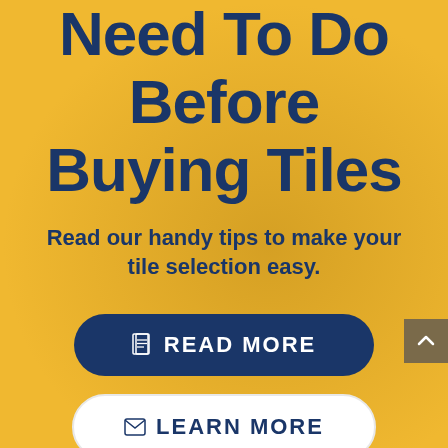Need To Do Before Buying Tiles
Read our handy tips to make your tile selection easy.
[Figure (other): Dark navy blue pill-shaped button with document icon and text READ MORE]
[Figure (other): White pill-shaped button with envelope icon and text LEARN MORE]